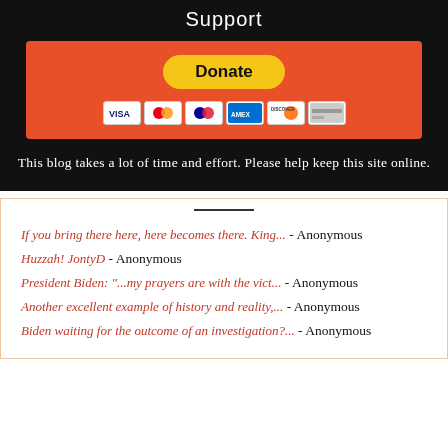Support
[Figure (other): PayPal donate button with orange background and payment card icons (Visa, Mastercard, Maestro, American Express, Discover, and another card)]
This blog takes a lot of time and effort. Please help keep this site online.
If you bring there here, here becomes there. King... - Anonymous
Huzzah! JontyD - Anonymous
President Biden: "...my prayers are with the vict... - Anonymous
Another excellent example of history and reality,... - Anonymous
Biden waiting for the outcome of an investigation?... - Anonymous